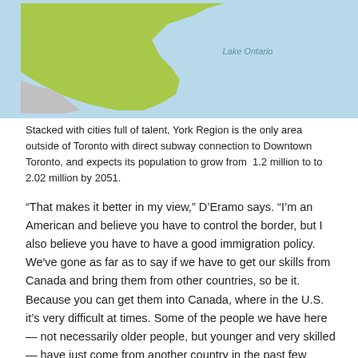[Figure (map): Partial map of Ontario region showing Lake Ontario label, with a green land area (York Region/Ontario peninsula) against a light blue water background.]
Stacked with cities full of talent, York Region is the only area outside of Toronto with direct subway connection to Downtown Toronto, and expects its population to grow from 1.2 million to to 2.02 million by 2051.
“That makes it better in my view,” D’Eramo says. “I’m an American and believe you have to control the border, but I also believe you have to have a good immigration policy. We've gone as far as to say if we have to get our skills from Canada and bring them from other countries, so be it. Because you can get them into Canada, where in the U.S. it’s very difficult at times. Some of the people we have here — not necessarily older people, but younger and very skilled — have just come from another country in the past few years and have done very well with us. It's a very important point that helps Canada a lot as far as resources and skills.”
Higher education helps too. “We have had tremendous success with co-ops and intern students,” D’Eramo says